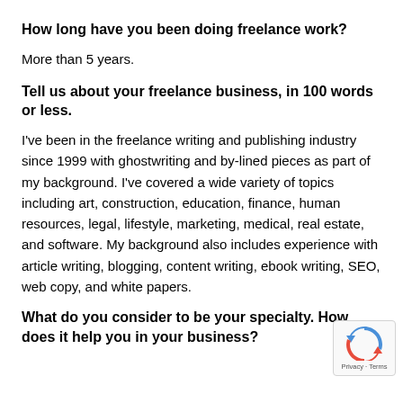How long have you been doing freelance work?
More than 5 years.
Tell us about your freelance business, in 100 words or less.
I've been in the freelance writing and publishing industry since 1999 with ghostwriting and by-lined pieces as part of my background. I've covered a wide variety of topics including art, construction, education, finance, human resources, legal, lifestyle, marketing, medical, real estate, and software. My background also includes experience with article writing, blogging, content writing, ebook writing, SEO, web copy, and white papers.
What do you consider to be your specialty. How does it help you in your business?